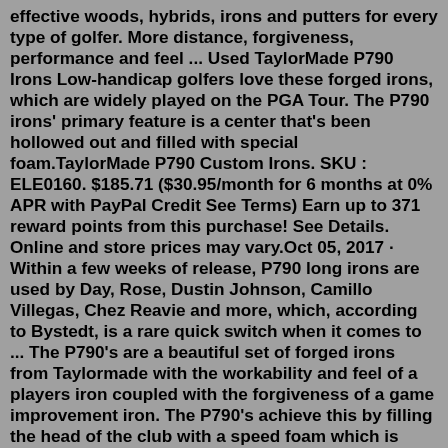effective woods, hybrids, irons and putters for every type of golfer. More distance, forgiveness, performance and feel ... Used TaylorMade P790 Irons Low-handicap golfers love these forged irons, which are widely played on the PGA Tour. The P790 irons' primary feature is a center that's been hollowed out and filled with special foam.TaylorMade P790 Custom Irons. SKU : ELE0160. $185.71 ($30.95/month for 6 months at 0% APR with PayPal Credit See Terms) Earn up to 371 reward points from this purchase! See Details. Online and store prices may vary.Oct 05, 2017 · Within a few weeks of release, P790 long irons are used by Day, Rose, Dustin Johnson, Camillo Villegas, Chez Reavie and more, which, according to Bystedt, is a rare quick switch when it comes to ... The P790's are a beautiful set of forged irons from Taylormade with the workability and feel of a players iron coupled with the forgiveness of a game improvement iron. The P790's achieve this by filling the head of the club with a speed foam which is much softer on impact than a traditional